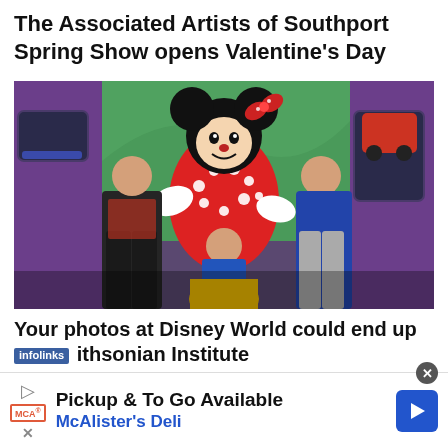The Associated Artists of Southport Spring Show opens Valentine's Day
[Figure (photo): Three children posing with Minnie Mouse character at Disney World, inside a colorful themed room. A girl in Snow White costume stands in front, flanked by two boys.]
Your photos at Disney World could end up ithsonian Institute
Pickup & To Go Available
McAlister's Deli